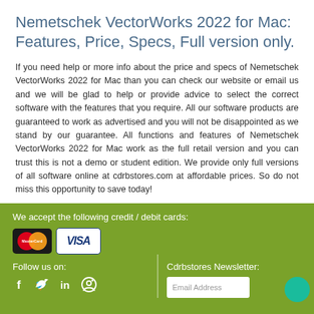Nemetschek VectorWorks 2022 for Mac: Features, Price, Specs, Full version only.
If you need help or more info about the price and specs of Nemetschek VectorWorks 2022 for Mac than you can check our website or email us and we will be glad to help or provide advice to select the correct software with the features that you require. All our software products are guaranteed to work as advertised and you will not be disappointed as we stand by our guarantee. All functions and features of Nemetschek VectorWorks 2022 for Mac work as the full retail version and you can trust this is not a demo or student edition. We provide only full versions of all software online at cdrbstores.com at affordable prices. So do not miss this opportunity to save today!
We accept the following credit / debit cards:
[Figure (logo): MasterCard and Visa credit card logos]
Follow us on:
[Figure (infographic): Social media icons: Facebook, Twitter, LinkedIn, Pinterest]
Cdrbstores Newsletter:
Email Address